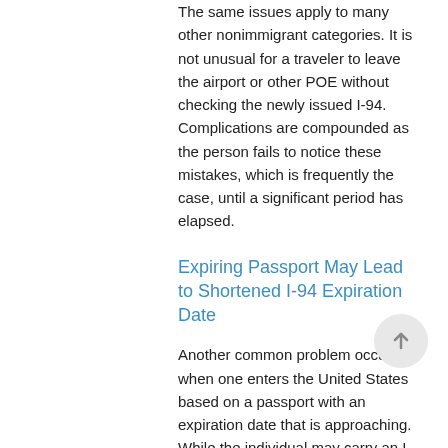The same issues apply to many other nonimmigrant categories. It is not unusual for a traveler to leave the airport or other POE without checking the newly issued I-94. Complications are compounded as the person fails to notice these mistakes, which is frequently the case, until a significant period has elapsed.
Expiring Passport May Lead to Shortened I-94 Expiration Date
Another common problem occurs when one enters the United States based on a passport with an expiration date that is approaching. While the individual may carry an I-797 approval notice that is valid for several more years, the CBP normally issues only an I-94 card that is valid until the expiration date of